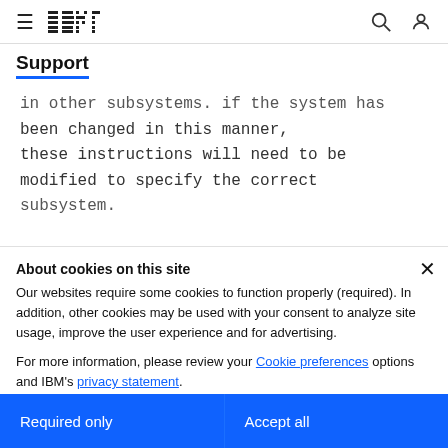≡  IBM  [search icon] [user icon]
Support
in other subsystems. If the system has been changed in this manner, these instructions will need to be modified to specify the correct subsystem.
About cookies on this site
Our websites require some cookies to function properly (required). In addition, other cookies may be used with your consent to analyze site usage, improve the user experience and for advertising.

For more information, please review your Cookie preferences options and IBM's privacy statement.
Required only
Accept all